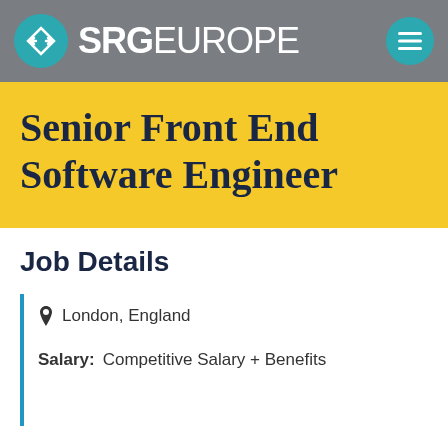[Figure (logo): SRG Europe logo with teal circle icon on grey header bar with hamburger menu button]
Senior Front End Software Engineer
Job Details
London, England
Salary: Competitive Salary + Benefits